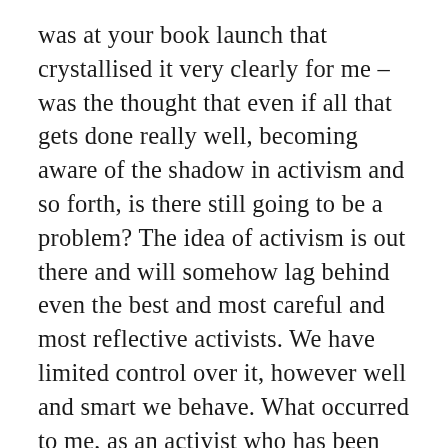was at your book launch that crystallised it very clearly for me – was the thought that even if all that gets done really well, becoming aware of the shadow in activism and so forth, is there still going to be a problem? The idea of activism is out there and will somehow lag behind even the best and most careful and most reflective activists. We have limited control over it, however well and smart we behave. What occurred to me, as an activist who has been among activists for so many years, is maybe I'm missing the fact that there's a sense in which the very idea of activism is the ultimate barrier to entry here. The vast majority of people are just unlikely to ever get on board with something if it's going to require them